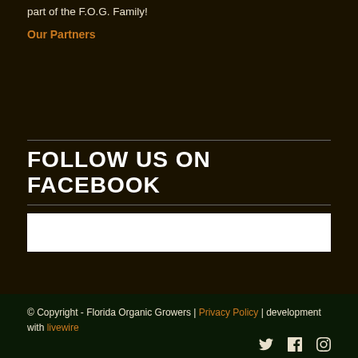part of the F.O.G. Family!
Our Partners
FOLLOW US ON FACEBOOK
[Figure (other): White Facebook widget/embed placeholder box]
© Copyright - Florida Organic Growers | Privacy Policy | development with livewire